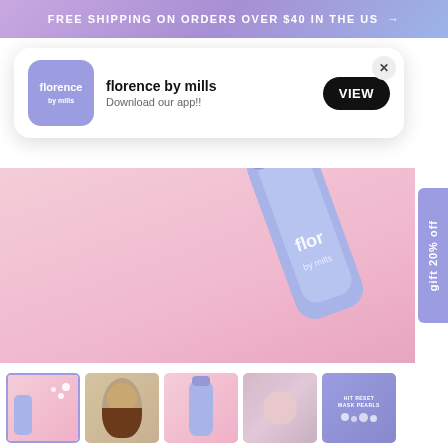FREE SHIPPING ON ORDERS OVER $40 IN THE US →
[Figure (screenshot): App download popup for florence by mills with purple icon, VIEW button, and X close button]
[Figure (photo): Florence by mills product bottle (blue/purple) on pink background, top-down view showing 'flor' branding]
[Figure (photo): Thumbnail 1: Product bottle and pearls on pink background (selected)]
[Figure (photo): Thumbnail 2: Woman smiling applying product near nose]
[Figure (photo): Thumbnail 3: Hand holding product bottle on pink background]
[Figure (photo): Thumbnail 4: Girl smiling applying product near ear]
[Figure (photo): Thumbnail 5: Purple product info graphic with pearls]
HIT RESET MOISTURIZING MASK PEARLS
★★★★☆  132 Reviews